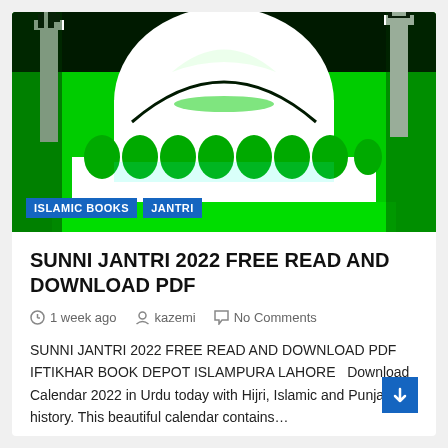[Figure (illustration): High-contrast green and black image of a mosque with a large white dome, minarets, and decorative arches along the front facade.]
ISLAMIC BOOKS   JANTRI
SUNNI JANTRI 2022 FREE READ AND DOWNLOAD PDF
1 week ago   kazemi   No Comments
SUNNI JANTRI 2022 FREE READ AND DOWNLOAD PDF IFTIKHAR BOOK DEPOT ISLAMPURA LAHORE   Download Calendar 2022 in Urdu today with Hijri, Islamic and Punjabi history. This beautiful calendar contains…